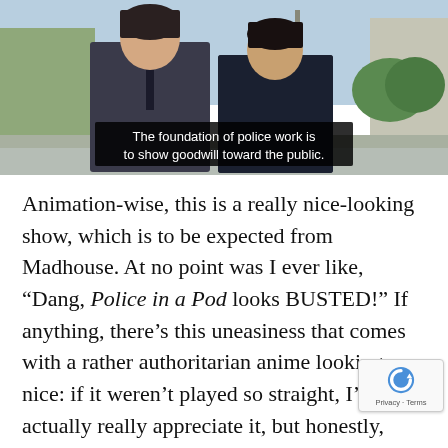[Figure (screenshot): Anime screenshot showing two police officers in uniform standing outdoors, with subtitle text overlaid]
The foundation of police work is to show goodwill toward the public.
Animation-wise, this is a really nice-looking show, which is to be expected from Madhouse. At no point was I ever like, “Dang, Police in a Pod looks BUSTED!” If anything, there’s this uneasiness that comes with a rather authoritarian anime looking so nice: if it weren’t played so straight, I’d actually really appreciate it, but honestly, Police in a Pod doesn’t know how to have nuance. Instead, it leans heavily on a narrative of “Japan’s police are some of the best, and they’re here to protect… which… doesn’t quite match the IRL Japanese police, who are known to be quite cruel frequently,